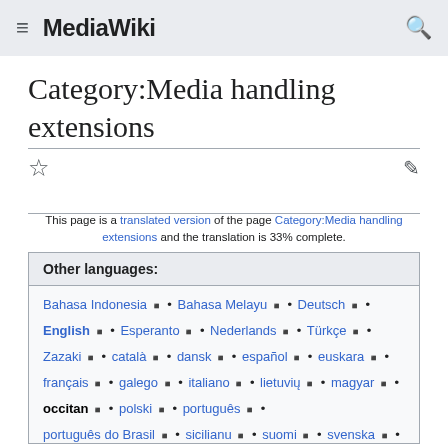MediaWiki
Category:Media handling extensions
This page is a translated version of the page Category:Media handling extensions and the translation is 33% complete.
Other languages: Bahasa Indonesia • Bahasa Melayu • Deutsch • English • Esperanto • Nederlands • Türkçe • Zazaki • català • dansk • español • euskara • français • galego • italiano • lietuvių • magyar • occitan • polski • português • português do Brasil • sicilianu • suomi • svenska • čeština • български • русский • українська